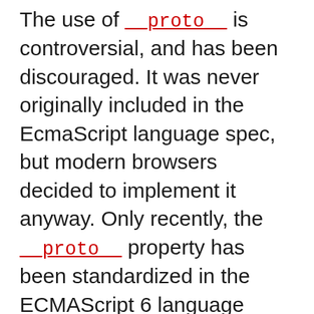The use of __proto__ is controversial, and has been discouraged. It was never originally included in the EcmaScript language spec, but modern browsers decided to implement it anyway. Only recently, the __proto__ property has been standardized in the ECMAScript 6 language specification for web browsers to ensure compatibility, so will be supported into the future. It is deprecated in favor of Object.getPrototypeOf/Reflect.getPrototypeOf and Object.setPrototypeOf/Reflect.setPrototypeOf (though still, setting the